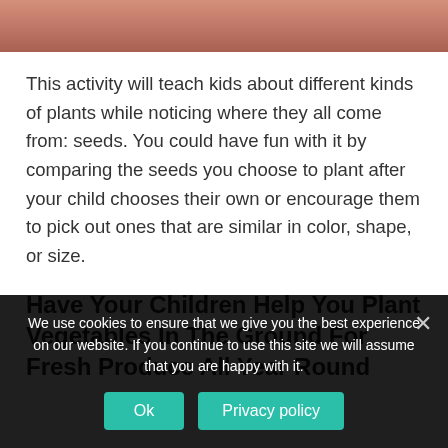[Figure (photo): Partial photo strip at top of page showing a child or person, cropped, warm skin tones]
This activity will teach kids about different kinds of plants while noticing where they all come from: seeds. You could have fun with it by comparing the seeds you choose to plant after your child chooses their own or encourage them to pick out ones that are similar in color, shape, or size.
Have Your Children Help You Plant Vegetables In The Ground For Fresh Produce All Year Round
We use cookies to ensure that we give you the best experience on our website. If you continue to use this site we will assume that you are happy with it.